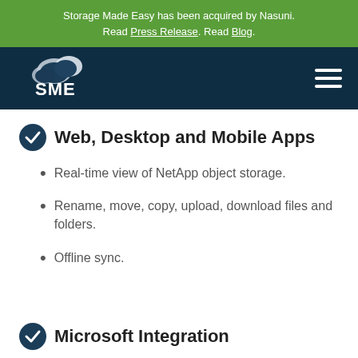Storage Made Easy has been acquired by Nasuni. Read Press Release. Read Blog.
[Figure (logo): SME (Storage Made Easy) cloud logo with white cloud icon and SME text on dark navy background, with hamburger menu icon on the right]
Web, Desktop and Mobile Apps
Real-time view of NetApp object storage.
Rename, move, copy, upload, download files and folders.
Offline sync.
Microsoft Integration